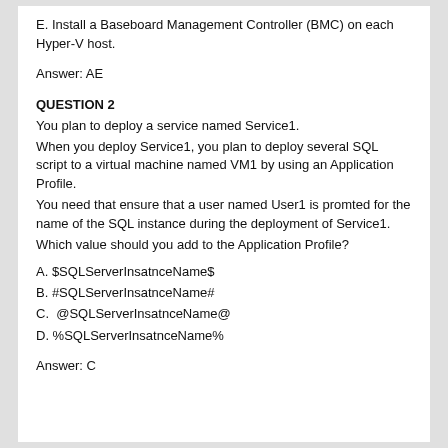E. Install a Baseboard Management Controller (BMC) on each Hyper-V host.
Answer: AE
QUESTION 2
You plan to deploy a service named Service1.
When you deploy Service1, you plan to deploy several SQL script to a virtual machine named VM1 by using an Application Profile.
You need that ensure that a user named User1 is promted for the name of the SQL instance during the deployment of Service1.
Which value should you add to the Application Profile?
A. $SQLServerInsatnceName$
B. #SQLServerInsatnceName#
C. @SQLServerInsatnceName@
D. %SQLServerInsatnceName%
Answer: C